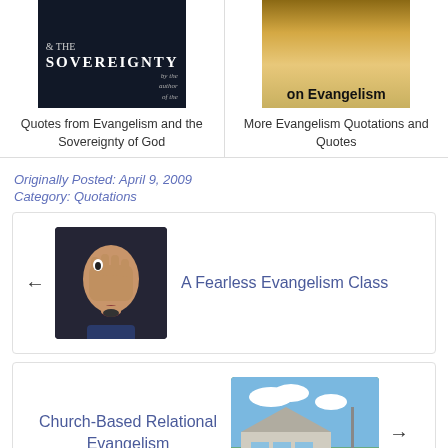[Figure (photo): Book cover for Evangelism and the Sovereignty of God]
Quotes from Evangelism and the Sovereignty of God
[Figure (photo): Book cover with text 'on Evangelism']
More Evangelism Quotations and Quotes
Originally Posted: April 9, 2009
Category: Quotations
[Figure (photo): A fearful person covering their face with one hand]
A Fearless Evangelism Class
[Figure (photo): A church building exterior]
Church-Based Relational Evangelism